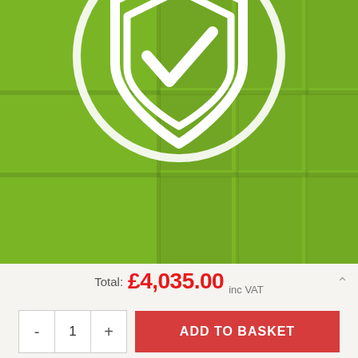[Figure (illustration): Green background with shelf/window pattern overlay and a white shield with checkmark icon in the center-top area]
10 Year Anti Rot Guarantee
Our manufacturing guarantee offers a full 12 month parts
Total: £4,035.00 inc VAT
- 1 + ADD TO BASKET